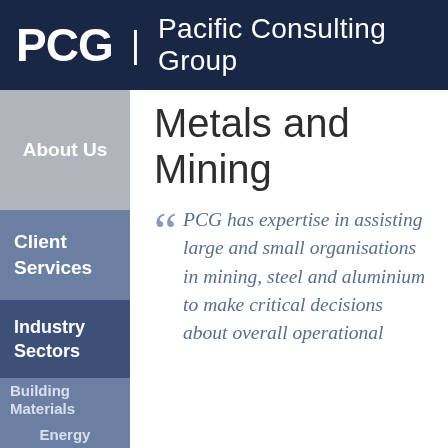PCG | Pacific Consulting Group
About Us
Client Services
Industry Sectors
Building Materials
Energy
Metals and Mining
PCG has expertise in assisting large and small organisations in mining, steel and aluminium to make critical decisions about overall operational